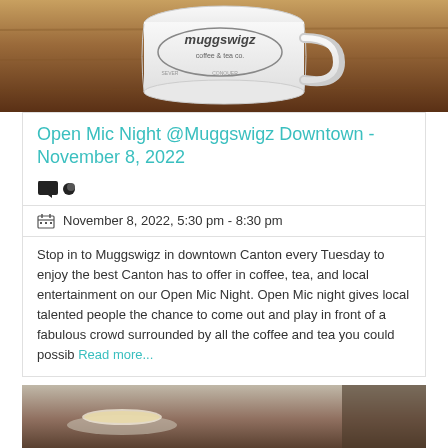[Figure (photo): Photo of a white Muggswigz Coffee & Tea Co. branded mug sitting on a wooden table surface]
Open Mic Night @Muggswigz Downtown - November 8, 2022
November 8, 2022, 5:30 pm - 8:30 pm
Stop in to Muggswigz in downtown Canton every Tuesday to enjoy the best Canton has to offer in coffee, tea, and local entertainment on our Open Mic Night. Open Mic night gives local talented people the chance to come out and play in front of a fabulous crowd surrounded by all the coffee and tea you could possibly... Read more...
[Figure (photo): Photo of a coffee drink in a white cup on a wooden table, partially visible at bottom of page]